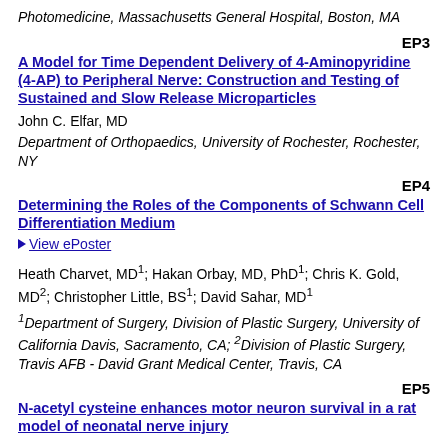Photomedicine, Massachusetts General Hospital, Boston, MA
EP3
A Model for Time Dependent Delivery of 4-Aminopyridine (4-AP) to Peripheral Nerve: Construction and Testing of Sustained and Slow Release Microparticles
John C. Elfar, MD
Department of Orthopaedics, University of Rochester, Rochester, NY
EP4
Determining the Roles of the Components of Schwann Cell Differentiation Medium
View ePoster
Heath Charvet, MD¹; Hakan Orbay, MD, PhD¹; Chris K. Gold, MD²; Christopher Little, BS¹; David Sahar, MD¹
¹Department of Surgery, Division of Plastic Surgery, University of California Davis, Sacramento, CA; ²Division of Plastic Surgery, Travis AFB - David Grant Medical Center, Travis, CA
EP5
N-acetyl cysteine enhances motor neuron survival in a rat model of neonatal nerve injury